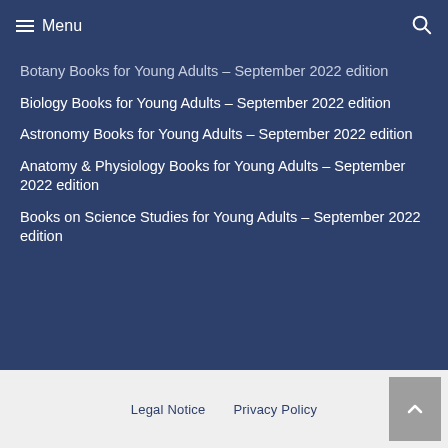Menu
Botany Books for Young Adults – September 2022 edition
Biology Books for Young Adults – September 2022 edition
Astronomy Books for Young Adults – September 2022 edition
Anatomy & Physiology Books for Young Adults – September 2022 edition
Books on Science Studies for Young Adults – September 2022 edition
Legal Notice   Privacy Policy